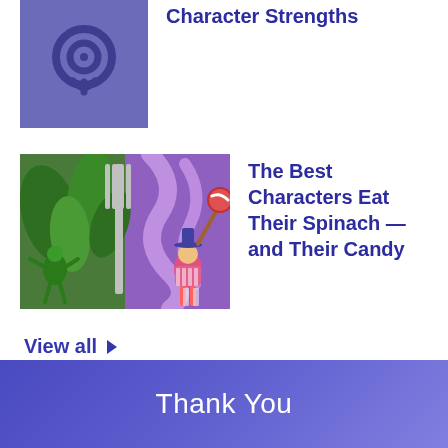[Figure (illustration): Podcast app icon on purple/blue background]
Character Strengths
[Figure (illustration): Illustrated characters: a green leaf fairy and a colorful candy witch with a fork]
The Best Characters Eat Their Spinach — and Their Candy
View all ▶
Thank You